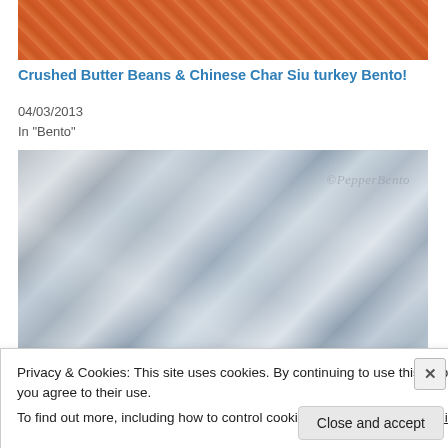[Figure (photo): Photo of Chinese Char Siu turkey or similar glazed meat dish on a tray, cropped at top]
Crushed Butter Beans & Chinese Char Siu turkey Bento!
04/03/2013
In "Bento"
[Figure (photo): Photo of crumpled aluminum foil inside a box, with watermark ©PepperBento in the top right corner]
Privacy & Cookies: This site uses cookies. By continuing to use this website, you agree to their use.
To find out more, including how to control cookies, see here: Cookie Policy
Close and accept